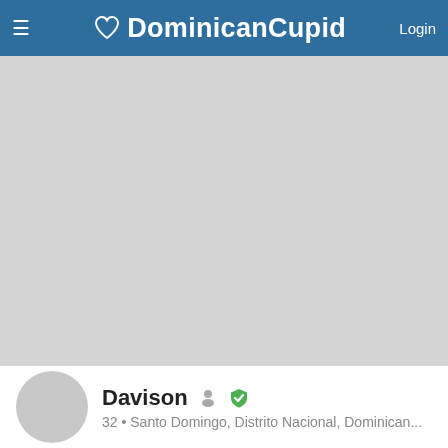DominicanCupid Login
[Figure (photo): Gray placeholder image area for user profile photo]
Ante todo... saludo...Principalmente debo decir que, soy un hombre agradecido y temeroso de Dios. De valores...
Davison  32 • Santo Domingo, Distrito Nacional, Dominican...